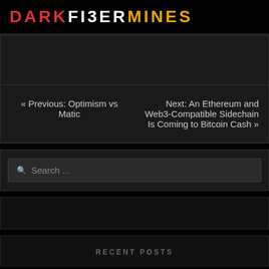DARKFIBERMINES
« Previous: Optimism vs Matic
Next: An Ethereum and Web3-Compatible Sidechain Is Coming to Bitcoin Cash »
Search ...
RECENT POSTS